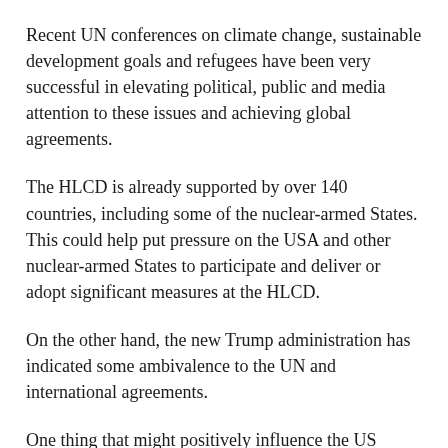Recent UN conferences on climate change, sustainable development goals and refugees have been very successful in elevating political, public and media attention to these issues and achieving global agreements.
The HLCD is already supported by over 140 countries, including some of the nuclear-armed States. This could help put pressure on the USA and other nuclear-armed States to participate and deliver or adopt significant measures at the HLCD.
On the other hand, the new Trump administration has indicated some ambivalence to the UN and international agreements.
One thing that might positively influence the US approach to the HLCD is whether or not the proposed US/Russia Summit goes ahead and if so, whether it produces a bilateral agreement on